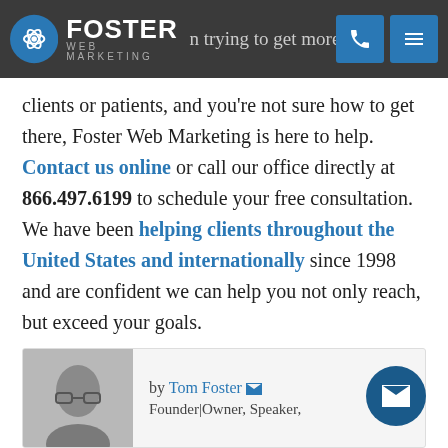Foster Web Marketing — trying to get more leads, more
clients or patients, and you're not sure how to get there, Foster Web Marketing is here to help. Contact us online or call our office directly at 866.497.6199 to schedule your free consultation. We have been helping clients throughout the United States and internationally since 1998 and are confident we can help you not only reach, but exceed your goals.
by Tom Foster
Founder|Owner, Speaker,